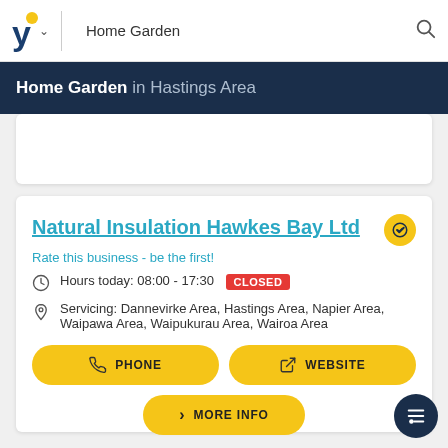Home Garden
Home Garden in Hastings Area
Natural Insulation Hawkes Bay Ltd
Rate this business - be the first!
Hours today: 08:00 - 17:30 CLOSED
Servicing: Dannevirke Area, Hastings Area, Napier Area, Waipawa Area, Waipukurau Area, Wairoa Area
PHONE
WEBSITE
MORE INFO